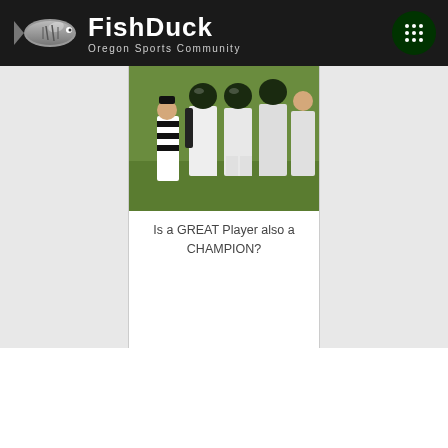FishDuck — Oregon Sports Community
[Figure (photo): Football players in white uniforms on a green field with a referee in black and white stripes]
Is a GREAT Player also a CHAMPION?